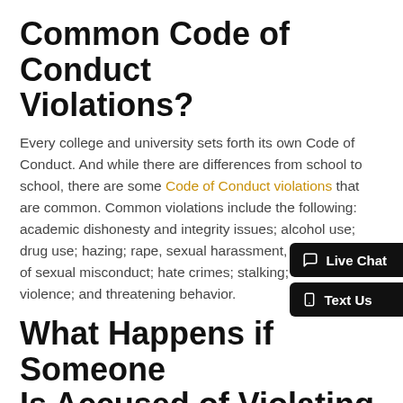Common Code of Conduct Violations?
Every college and university sets forth its own Code of Conduct. And while there are differences from school to school, there are some Code of Conduct violations that are common. Common violations include the following: academic dishonesty and integrity issues; alcohol use; drug use; hazing; rape, sexual harassment, or other forms of sexual misconduct; hate crimes; stalking; domestic violence; and threatening behavior.
What Happens if Someone Is Accused of Violating School's Code of Conduct?
Procedures for addressing Code of Conduct violations typically begin with the college or university informing the